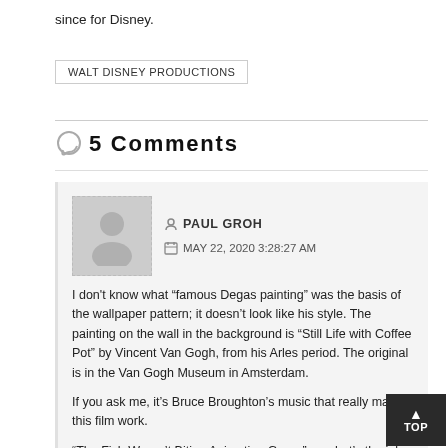since for Disney.
WALT DISNEY PRODUCTIONS
5 Comments
PAUL GROH
MAY 22, 2020 3:28:27 AM
I don't know what “famous Degas painting” was the basis of the wallpaper pattern; it doesn’t look like his style. The painting on the wall in the background is “Still Life with Coffee Pot” by Vincent Van Gogh, from his Arles period. The original is in the Van Gogh Museum in Amsterdam.
If you ask me, it’s Bruce Broughton’s music that really makes this film work.
“The Fish Weren’t Biting Animation Group” — what’s the joke behind that?